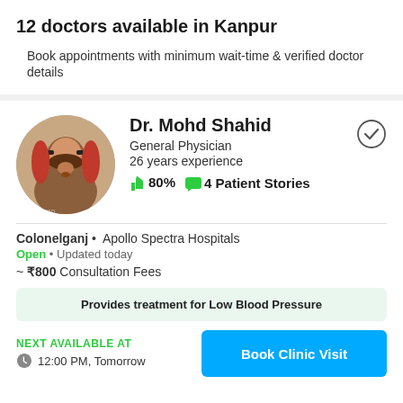12 doctors available in Kanpur
Book appointments with minimum wait-time & verified doctor details
Dr. Mohd Shahid
General Physician
26 years experience
80% · 4 Patient Stories
Colonelganj • Apollo Spectra Hospitals
Open • Updated today
~ ₹800 Consultation Fees
Provides treatment for Low Blood Pressure
NEXT AVAILABLE AT
12:00 PM, Tomorrow
Book Clinic Visit